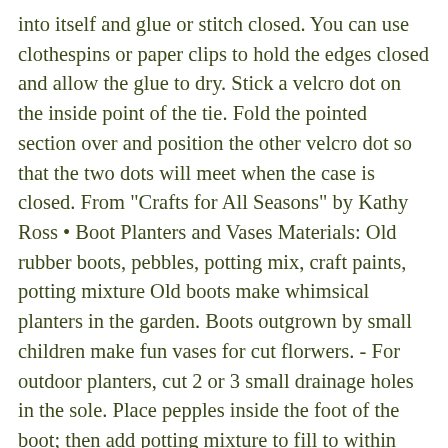into itself and glue or stitch closed. You can use clothespins or paper clips to hold the edges closed and allow the glue to dry. Stick a velcro dot on the inside point of the tie. Fold the pointed section over and position the other velcro dot so that the two dots will meet when the case is closed. From "Crafts for All Seasons" by Kathy Ross • Boot Planters and Vases Materials: Old rubber boots, pebbles, potting mix, craft paints, potting mixture Old boots make whimsical planters in the garden. Boots outgrown by small children make fun vases for cut florwers. - For outdoor planters, cut 2 or 3 small drainage holes in the sole. Place pepples inside the foot of the boot; then add potting mixture to fill to within several inches of the boot top. Add plants and a bit more soil around the roots. Trailing plants work well in these planters. - For vases, place boots on newspaper and dribble colourful paints down edges, across toes and so on. Let dry completely. If boots have any cracks/holes, do not place water directly into boot but use an empty, washed soup can, placed inside the boot to hold water. • Decorative Jars